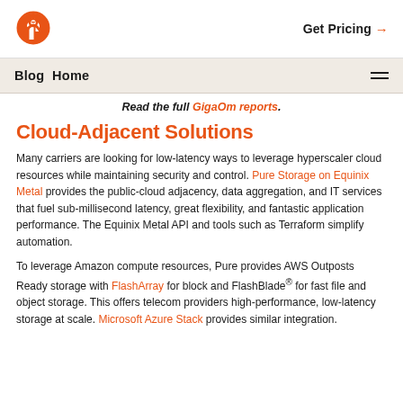Pure Storage logo | Get Pricing →
Blog Home ≡
Read the full GigaOm reports.
Cloud-Adjacent Solutions
Many carriers are looking for low-latency ways to leverage hyperscaler cloud resources while maintaining security and control. Pure Storage on Equinix Metal provides the public-cloud adjacency, data aggregation, and IT services that fuel sub-millisecond latency, great flexibility, and fantastic application performance. The Equinix Metal API and tools such as Terraform simplify automation.
To leverage Amazon compute resources, Pure provides AWS Outposts Ready storage with FlashArray for block and FlashBlade® for fast file and object storage. This offers telecom providers high-performance, low-latency storage at scale. Microsoft Azure Stack provides similar integration.